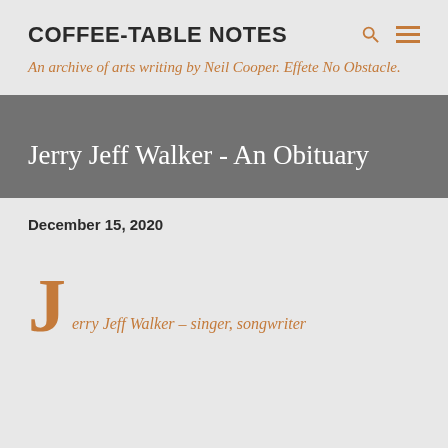COFFEE-TABLE NOTES
An archive of arts writing by Neil Cooper. Effete No Obstacle.
Jerry Jeff Walker - An Obituary
December 15, 2020
Jerry Jeff Walker – singer, songwriter